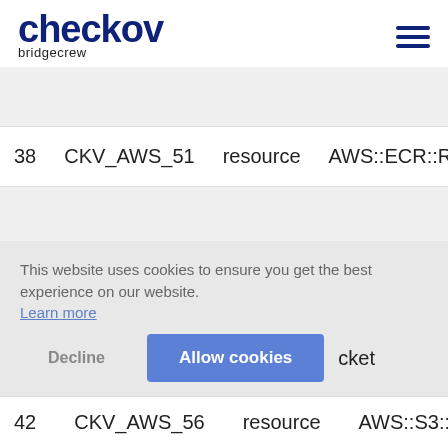[Figure (logo): Checkov by Bridgecrew logo with hamburger menu icon]
| # | Check ID | Type | Resource |
| --- | --- | --- | --- |
| 38 | CKV_AWS_51 | resource | AWS::ECR::Reposito… |
| 39 | CKV_AWS_53 | resource | AWS::S3::Bucket |
|  |  |  | …cket |
|  |  |  | …cket |
| 42 | CKV_AWS_56 | resource | AWS::S3::Bucket |
This website uses cookies to ensure you get the best experience on our website. Learn more
Decline  Allow cookies